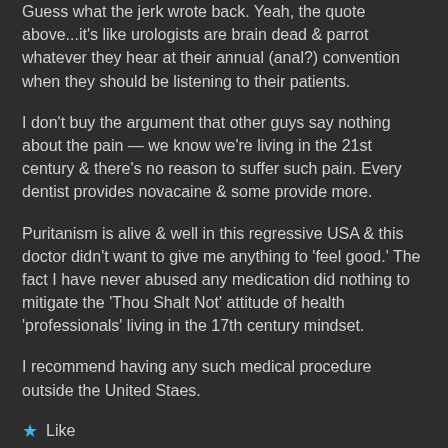Guess what the jerk wrote back. Yeah, the quote above...it's like urologists are brain dead & parrot whatever they hear at their annual (anal?) convention when they should be listening to their patients.
I don't buy the argument that other guys say nothing about the pain — we know we're living in the 21st century & there's no reason to suffer such pain. Every dentist provides novacaine & some provide more.
Puritanism is alive & well in this regressive USA & this doctor didn't want to give me anything to 'feel good.' The fact I have never abused any medication did nothing to mitigate the 'Thou Shalt Not' attitude of health 'professionals' living in the 17th century mindset.
I recommend having any such medical procedure outside the United Staes.
★ Like